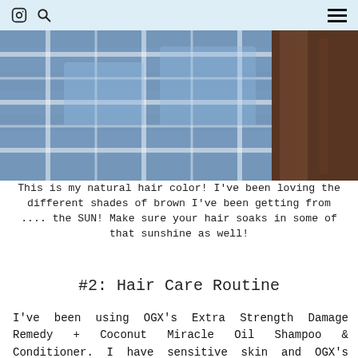[Instagram icon] [Search icon] [Menu icon]
[Figure (photo): Person sitting on a wooden bench wearing a blue and white plaid flannel shirt, with long brown hair visible, photographed from behind/side angle.]
This is my natural hair color! I've been loving the different shades of brown I've been getting from .... the SUN! Make sure your hair soaks in some of that sunshine as well!
#2: Hair Care Routine
I've been using OGX's Extra Strength Damage Remedy + Coconut Miracle Oil Shampoo & Conditioner. I have sensitive skin and OGX's materials haven't caused any reactions to my scalp, which is a bonus for me. Its taken